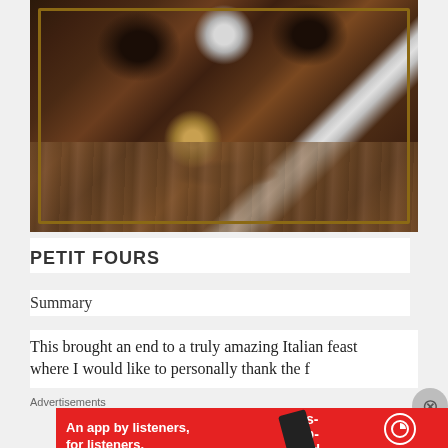[Figure (photo): Overhead photo of chocolate petit fours and truffles in a wooden box tray, on a wooden table surface. Items include dark chocolate truffles, a silver/white coated truffle, a golden/sesame coated truffle ball, and green garnished pieces, all set in crushed chocolate crumbs.]
PETIT FOURS
Summary
This brought an end to a truly amazing Italian feast
Advertisements
[Figure (other): Advertisement banner: red background with text 'An app by listeners, for listeners.' and Pocket Casts branding with phone graphic and 'Distributed' text.]